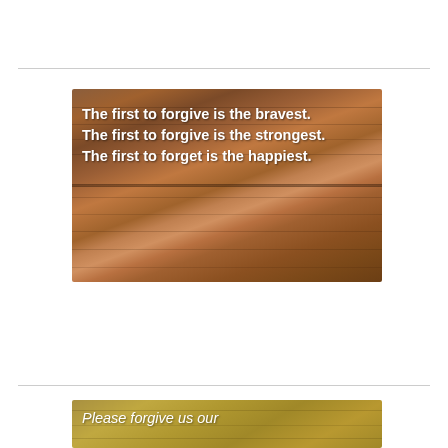[Figure (photo): Photo of wooden planks with white bold text overlay reading: 'The first to forgive is the bravest. The first to forgive is the strongest. The first to forget is the happiest.']
[Figure (photo): Photo of a golden/wheat background with white italic text overlay beginning: 'Please forgive us our']